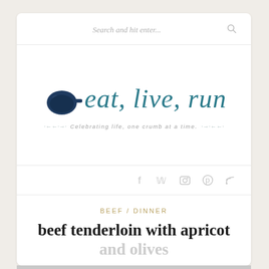Search and hit enter...
[Figure (logo): eat, live, run blog logo with cast iron skillet icon and cursive teal text. Tagline: Celebrating life, one crumb at a time.]
f  w  [camera]  [pinterest]  [rss]
BEEF / DINNER
beef tenderloin with apricot and olives